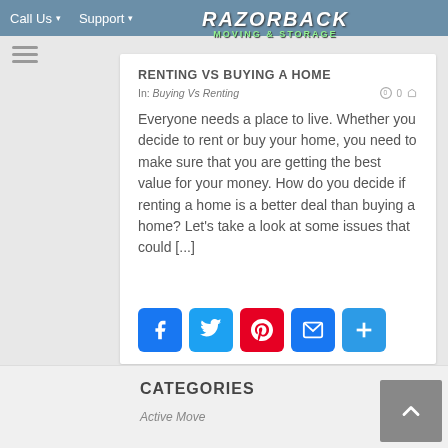Call Us  Support
[Figure (logo): Razorback Moving & Storage logo overlay]
RENTING VS BUYING A HOME
In: Buying Vs Renting
Everyone needs a place to live. Whether you decide to rent or buy your home, you need to make sure that you are getting the best value for your money. How do you decide if renting a home is a better deal than buying a home? Let's take a look at some issues that could [...]
[Figure (infographic): Social sharing buttons: Facebook, Twitter, Pinterest, Email, More]
CATEGORIES